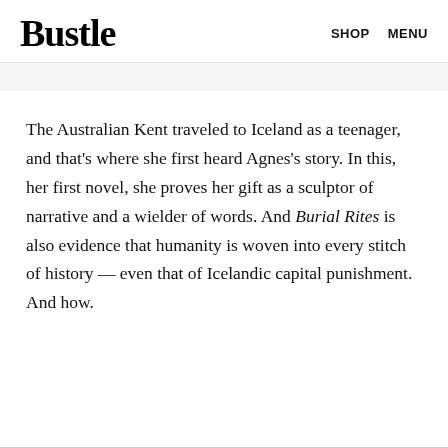Bustle   SHOP   MENU
The Australian Kent traveled to Iceland as a teenager, and that's where she first heard Agnes's story. In this, her first novel, she proves her gift as a sculptor of narrative and a wielder of words. And Burial Rites is also evidence that humanity is woven into every stitch of history — even that of Icelandic capital punishment. And how.